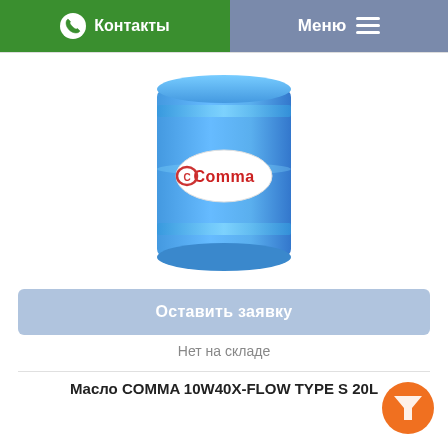Контакты  Меню
[Figure (photo): Blue metal drum/barrel with Comma oil brand logo label]
Оставить заявку
Нет на складе
Масло COMMA 10W40X-FLOW TYPE S 20L